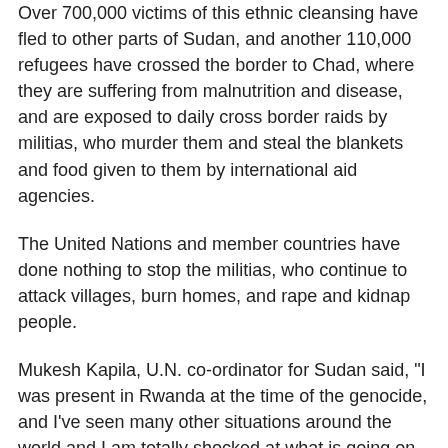Over 700,000 victims of this ethnic cleansing have fled to other parts of Sudan, and another 110,000 refugees have crossed the border to Chad, where they are suffering from malnutrition and disease, and are exposed to daily cross border raids by militias, who murder them and steal the blankets and food given to them by international aid agencies.
The United Nations and member countries have done nothing to stop the militias, who continue to attack villages, burn homes, and rape and kidnap people.
Mukesh Kapila, U.N. co-ordinator for Sudan said, "I was present in Rwanda at the time of the genocide, and I've seen many other situations around the world and I am totally shocked at what is going on in Darfur. This is the world's greatest humanitarian crisis, and I don't know why the world isn't doing more about it."